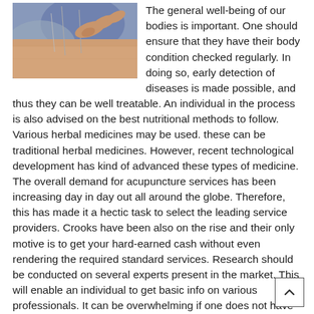[Figure (photo): A close-up photo of acupuncture needles being inserted into skin by hands, with a blurred blue/purple background.]
The general well-being of our bodies is important. One should ensure that they have their body condition checked regularly. In doing so, early detection of diseases is made possible, and thus they can be well treatable. An individual in the process is also advised on the best nutritional methods to follow. Various herbal medicines may be used. these can be traditional herbal medicines. However, recent technological development has kind of advanced these types of medicine. The overall demand for acupuncture services has been increasing day in day out all around the globe. Therefore, this has made it a hectic task to select the leading service providers. Crooks have been also on the rise and their only motive is to get your hard-earned cash without even rendering the required standard services. Research should be conducted on several experts present in the market. This will enable an individual to get basic info on various professionals. It can be overwhelming if one does not have the knowledge of where to commence. This article provides factors that one should always consider before hiring of acupuncturist;